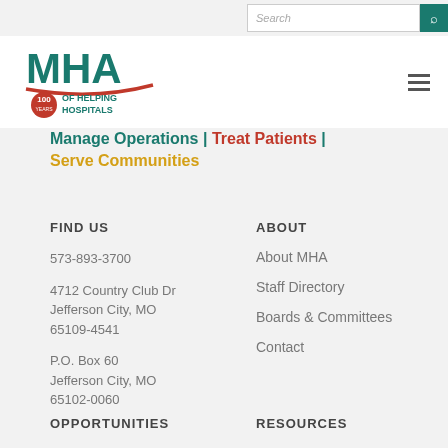[Figure (logo): MHA logo with '100 Years of Helping Hospitals' text]
Manage Operations | Treat Patients | Serve Communities
FIND US
573-893-3700
4712 Country Club Dr
Jefferson City, MO
65109-4541
P.O. Box 60
Jefferson City, MO
65102-0060
ABOUT
About MHA
Staff Directory
Boards & Committees
Contact
OPPORTUNITIES
RESOURCES